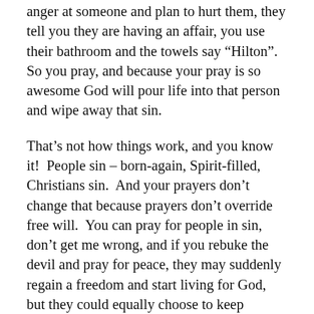anger at someone and plan to hurt them, they tell you they are having an affair, you use their bathroom and the towels say “Hilton”.  So you pray, and because your pray is so awesome God will pour life into that person and wipe away that sin.
That’s not how things work, and you know it!  People sin – born-again, Spirit-filled, Christians sin.  And your prayers don’t change that because prayers don’t override free will.  You can pray for people in sin, don’t get me wrong, and if you rebuke the devil and pray for peace, they may suddenly regain a freedom and start living for God, but they could equally choose to keep sinning.
The point is that is not what this verse means.  The pronouns in Greek are all referring to the same indiviudal, so the best way to translate this verse is: